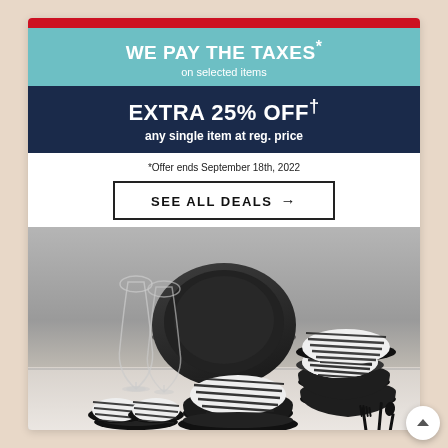WE PAY THE TAXES* on selected items
EXTRA 25% OFF† any single item at reg. price
*Offer ends September 18th, 2022
SEE ALL DEALS →
[Figure (photo): Black matte dinnerware set with zebra-stripe patterned bowls, plates, wine glasses, and black cutlery arranged on a white marble surface against a grey concrete background]